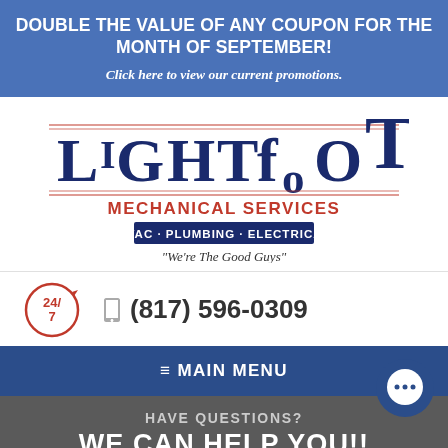DOUBLE THE VALUE OF ANY COUPON FOR THE MONTH OF SEPTEMBER!
Click here to view our current promotions.
[Figure (logo): Lightfoot Mechanical Services logo: large stylized text 'LIGHTFOOT' in dark navy with red accent marks, below it 'MECHANICAL SERVICES' in red, then a dark navy bar with white text 'HVAC · PLUMBING · ELECTRICAL', and below that italic text 'We're The Good Guys']
[Figure (logo): 24/7 circular badge in red with arrow, and phone icon followed by phone number (817) 596-0309]
≡ MAIN MENU
HAVE QUESTIONS?
WE CAN HELP YOU!!